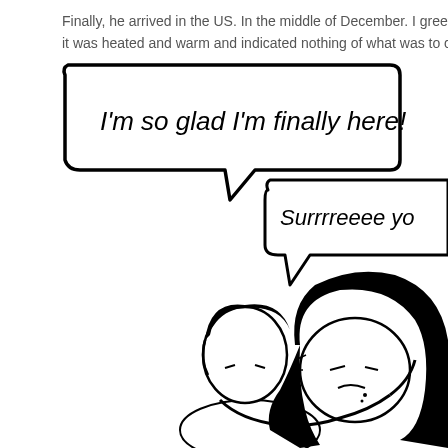Finally, he arrived in the US. In the middle of December. I greeted... it was heated and warm and indicated nothing of what was to com...
[Figure (illustration): Comic panel showing two speech bubbles and two cartoon characters embracing/kissing. First speech bubble says 'I'm so glad I'm finally here!' and second speech bubble (partially cut off) says 'Surrrreeee yo...' Two cartoon characters with black hair are shown at the bottom of the panel.]